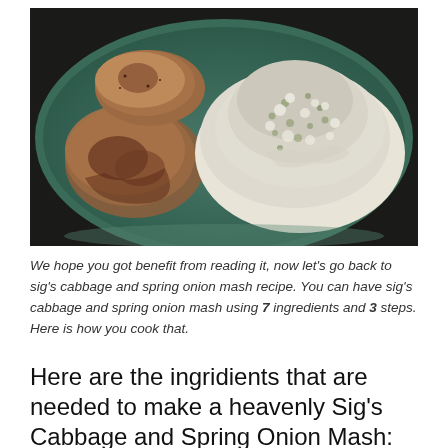[Figure (photo): A green plate with roasted chicken pieces on the left and a mound of cabbage and spring onion mash on the right.]
We hope you got benefit from reading it, now let's go back to sig's cabbage and spring onion mash recipe. You can have sig's cabbage and spring onion mash using 7 ingredients and 3 steps. Here is how you cook that.
Here are the ingridients that are needed to make a heavenly Sig's Cabbage and Spring Onion Mash: